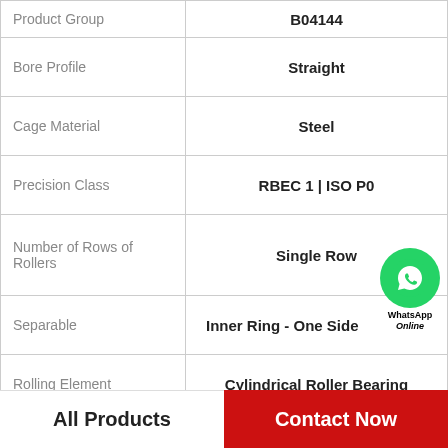| Property | Value |
| --- | --- |
| Product Group | B04144 |
| Bore Profile | Straight |
| Cage Material | Steel |
| Precision Class | RBEC 1 | ISO P0 |
| Number of Rows of Rollers | Single Row |
| Separable | Inner Ring - One Side |
| Rolling Element | Cylindrical Roller Bearing |
| Profile | Complete with Outer and Inner Ring |
| Snap Ring | No |
[Figure (logo): WhatsApp Online contact bubble with green phone icon and text 'WhatsApp Online']
All Products
Contact Now